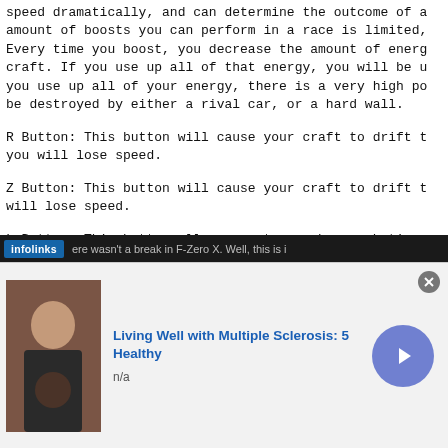speed dramatically, and can determine the outcome of a race. The amount of boosts you can perform in a race is limited, however. Every time you boost, you decrease the amount of energy in your craft. If you use up all of that energy, you will be unable to boost. If you use up all of your energy, there is a very high possibility that you'll be destroyed by either a rival car, or a hard wall.
R Button: This button will cause your craft to drift to the right, and you will lose speed.
Z Button: This button will cause your craft to drift to the left, and you will lose speed.
L Button: This button allows you to see how much time separates you and the leading rival machine. If you are coming first, it shows the time that separates you and the rival machine coming second.
C-Down: I'm kicking myself as I write this because up until now there wasn't a break in F-Zero X. Well, this is i
[Figure (screenshot): Infolinks advertisement bar at bottom of page, followed by an ad for 'Living Well with Multiple Sclerosis: 5 Healthy' with an image of a person, text 'n/a', and a blue circular arrow button. A close button (x) is shown in the top right of the ad.]